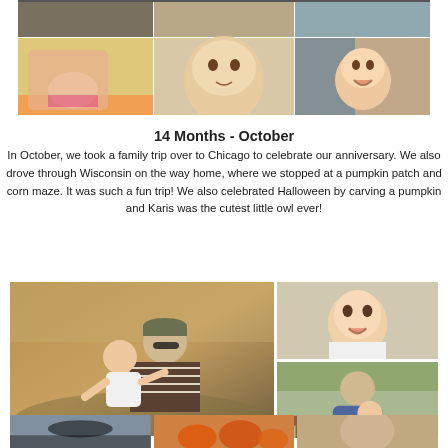[Figure (photo): Grid of baby/family photos at top of page — partial row visible at very top, then a row of three baby photos (baby on slide, baby face looking up, laughing baby)]
14 Months - October
In October, we took a family trip over to Chicago to celebrate our anniversary. We also drove through Wisconsin on the way home, where we stopped at a pumpkin patch and corn maze. It was such a fun trip! We also celebrated Halloween by carving a pumpkin and Karis was the cutest little owl ever!
[Figure (photo): Large photo of father holding baby at pumpkin patch with two smaller photos of baby and mother on the right side]
[Figure (photo): Bottom strip of three photos — outdoor scene, Halloween/pumpkin scene, and family photo]